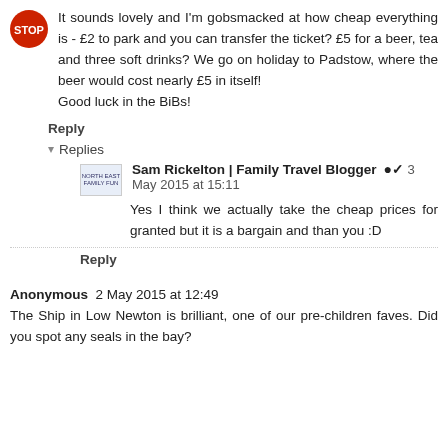It sounds lovely and I'm gobsmacked at how cheap everything is - £2 to park and you can transfer the ticket? £5 for a beer, tea and three soft drinks? We go on holiday to Padstow, where the beer would cost nearly £5 in itself!
Good luck in the BiBs!
Reply
▾ Replies
Sam Rickelton | Family Travel Blogger ✔ 3 May 2015 at 15:11
Yes I think we actually take the cheap prices for granted but it is a bargain and than you :D
Reply
Anonymous  2 May 2015 at 12:49
The Ship in Low Newton is brilliant, one of our pre-children faves. Did you spot any seals in the bay?